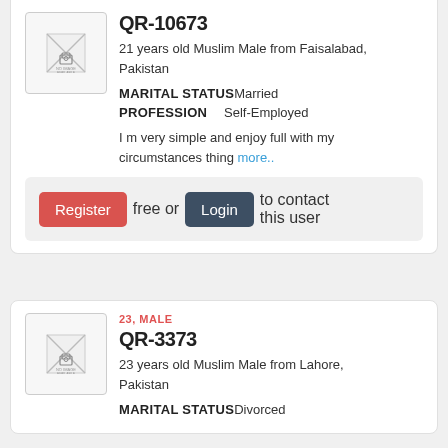[Figure (other): No photo available placeholder icon]
QR-10673
21 years old Muslim Male from Faisalabad, Pakistan
MARITAL STATUS  Married
PROFESSION  Self-Employed
I m very simple and enjoy full with my circumstances thing more..
Register free or Login to contact this user
[Figure (other): No photo available placeholder icon]
23, MALE
QR-3373
23 years old Muslim Male from Lahore, Pakistan
MARITAL STATUS  Divorced